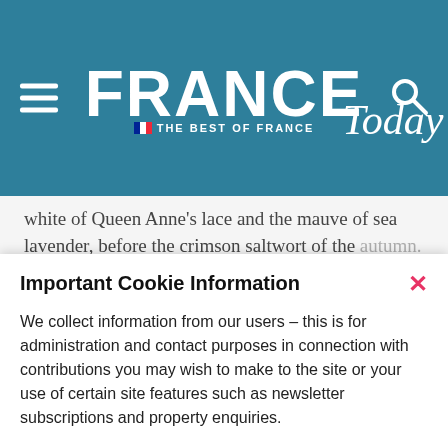[Figure (logo): France Today logo with hamburger menu and search icon on teal/blue background]
white of Queen Anne's lace and the mauve of sea lavender, before the crimson saltwort of the
Important Cookie Information
We collect information from our users – this is for administration and contact purposes in connection with contributions you may wish to make to the site or your use of certain site features such as newsletter subscriptions and property enquiries.
View cookie policy
Accept